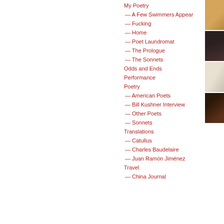My Poetry
— A Few Swimmers Appear
— Fucking
— Home
— Poet Laundromat
— The Prologue
— The Sonnets
Odds and Ends
Performance
Poetry
— American Poets
— Bill Kushner Interview
— Other Poets
— Sonnets
Translations
— Catullus
— Charles Baudelaire
— Juan Ramón Jiménez
Travel
— China Journal